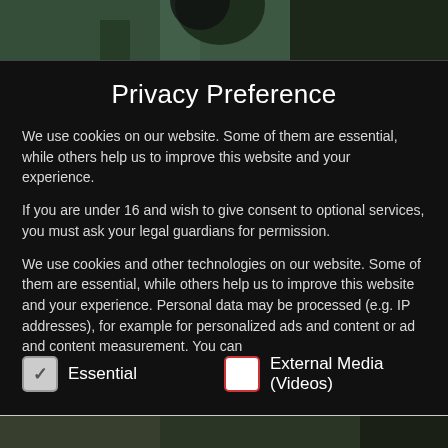[Figure (photo): Partial horse photo visible at top of page behind modal overlay]
Privacy Preference
We use cookies on our website. Some of them are essential, while others help us to improve this website and your experience.
If you are under 16 and wish to give consent to optional services, you must ask your legal guardians for permission.
We use cookies and other technologies on our website. Some of them are essential, while others help us to improve this website and your experience. Personal data may be processed (e.g. IP addresses), for example for personalized ads and content or ad and content measurement. You can
Essential
External Media (Videos)
[Figure (photo): Partial photo at bottom showing horses and a partial text 'Vermögensber']